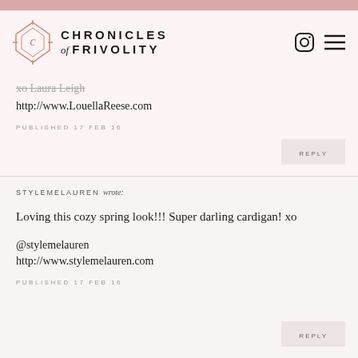CHRONICLES of FRIVOLITY
xo Laura Leigh
http://www.LouellаReese.com
PUBLISHED 17 FEB 16
STYLEMELAUREN wrote:
Loving this cozy spring look!!! Super darling cardigan! xo

@stylemelauren
http://www.stylemelauren.com
PUBLISHED 17 FEB 16